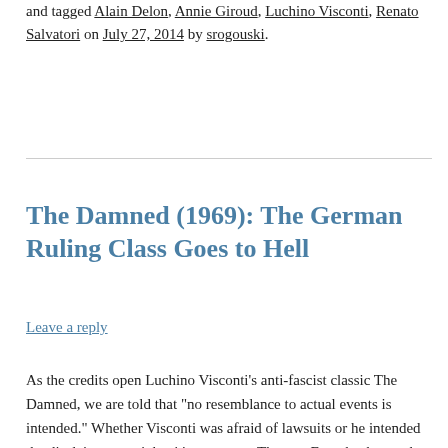and tagged Alain Delon, Annie Giroud, Luchino Visconti, Renato Salvatori on July 27, 2014 by srogouski.
The Damned (1969): The German Ruling Class Goes to Hell
Leave a reply
As the credits open Luchino Visconti’s anti-fascist classic The Damned, we are told that “no resemblance to actual events is intended.” Whether Visconti was afraid of lawsuits or he intended the disclaimer as a joke, it’s nonsense. The von Essenbecks are the Krupps, the notorious family of Rhineland industrialists and arms merchants who made an alliance with Adolf Hitler in the early 1930s, and survived the war with their